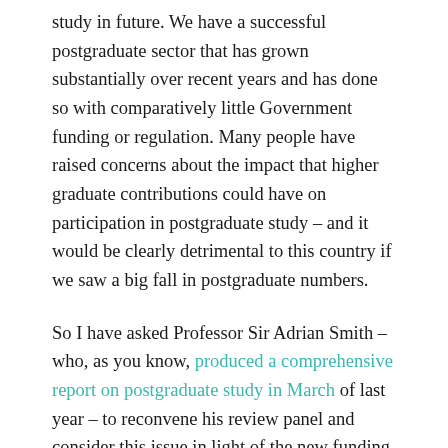study in future. We have a successful postgraduate sector that has grown substantially over recent years and has done so with comparatively little Government funding or regulation. Many people have raised concerns about the impact that higher graduate contributions could have on participation in postgraduate study – and it would be clearly detrimental to this country if we saw a big fall in postgraduate numbers.
So I have asked Professor Sir Adrian Smith – who, as you know, produced a comprehensive report on postgraduate study in March of last year – to reconvene his review panel and consider this issue in light of the new funding environment.